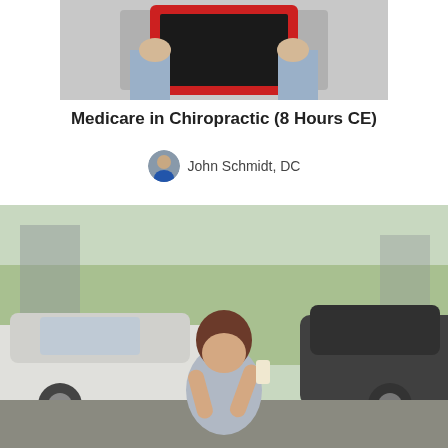[Figure (photo): Person holding a red-framed chalkboard/tablet, course thumbnail image for Medicare in Chiropractic]
Medicare in Chiropractic (8 Hours CE)
John Schmidt, DC
[Figure (photo): Person sitting between two cars after a car accident, talking on a phone, viewed from behind]